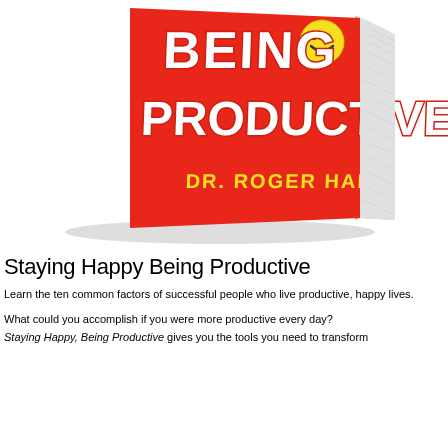[Figure (photo): Book cover of 'Staying Happy Being Productive' by Dr. Roger Hall. Red cover with bold white text reading 'BEING PRODUCTIVE' and a yellow smiley face emoji. Author name 'DR. ROGER HALL' in yellow text at the bottom of the cover. The book is shown in a 3D perspective angle.]
Staying Happy Being Productive
Learn the ten common factors of successful people who live productive, happy lives.
What could you accomplish if you were more productive every day?
Staying Happy, Being Productive gives you the tools you need to transform